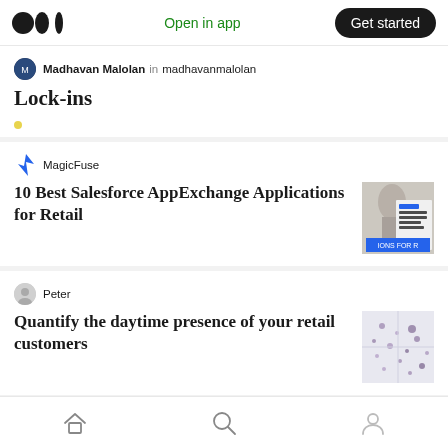Medium logo | Open in app | Get started
Madhavan Malolan in madhavanmalolan
Lock-ins
MagicFuse
10 Best Salesforce AppExchange Applications for Retail
[Figure (screenshot): Thumbnail image showing a statue and app listings]
Peter
Quantify the daytime presence of your retail customers
[Figure (photo): Thumbnail map image with dots]
Angela Castles in Myriad
Demo Day to feature at Myriad 2017
[Figure (photo): Dark thumbnail with pink M letter]
Home | Search | Profile navigation icons